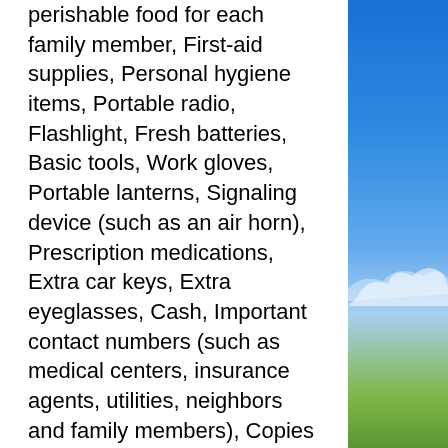perishable food for each family member, First-aid supplies, Personal hygiene items, Portable radio, Flashlight, Fresh batteries, Basic tools, Work gloves, Portable lanterns, Signaling device (such as an air horn), Prescription medications, Extra car keys, Extra eyeglasses, Cash, Important contact numbers (such as medical centers, insurance agents, utilities, neighbors and family members), Copies of important documents (such as identification, insurance policies, ownership certificates and banking information)
[Figure (photo): Blue sky with white clouds and green grass at the bottom, forming a right-side border image.]